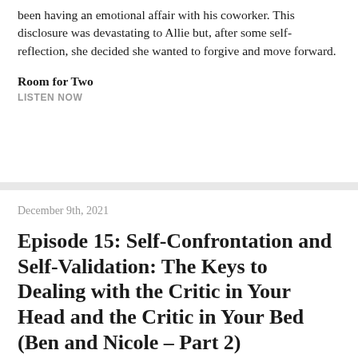been having an emotional affair with his coworker. This disclosure was devastating to Allie but, after some self-reflection, she decided she wanted to forgive and move forward.
Room for Two
LISTEN NOW
December 9th, 2021
Episode 15: Self-Confrontation and Self-Validation: The Keys to Dealing with the Critic in Your Head and the Critic in Your Bed (Ben and Nicole – Part 2)